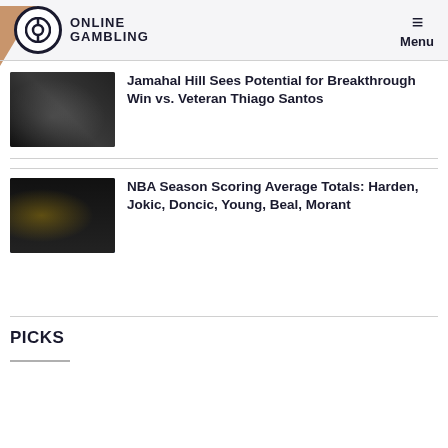ONLINE GAMBLING — Menu
Jamahal Hill Sees Potential for Breakthrough Win vs. Veteran Thiago Santos
NBA Season Scoring Average Totals: Harden, Jokic, Doncic, Young, Beal, Morant
PICKS